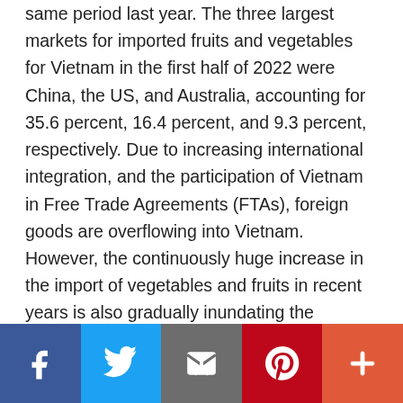same period last year. The three largest markets for imported fruits and vegetables for Vietnam in the first half of 2022 were China, the US, and Australia, accounting for 35.6 percent, 16.4 percent, and 9.3 percent, respectively. Due to increasing international integration, and the participation of Vietnam in Free Trade Agreements (FTAs), foreign goods are overflowing into Vietnam. However, the continuously huge increase in the import of vegetables and fruits in recent years is also gradually inundating the domestic market, which should serve as a warning for Vietnamese fruit and vegetable producers. Just a few years ago, if housewives … [Read more...]
[Figure (infographic): Social media sharing bar with icons for Facebook, Twitter, Email, Pinterest, and More (+)]